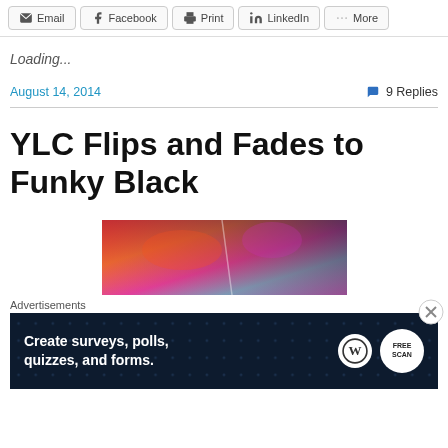Email  Facebook  Print  LinkedIn  More
Loading...
August 14, 2014   9 Replies
YLC Flips and Fades to Funky Black
[Figure (photo): Colorful abstract painting with red, orange, pink, blue and purple tones — top portion of article image]
Advertisements
[Figure (screenshot): Advertisement banner: 'Create surveys, polls, quizzes, and forms.' with WordPress and SurveyMonkey logos on dark navy background]